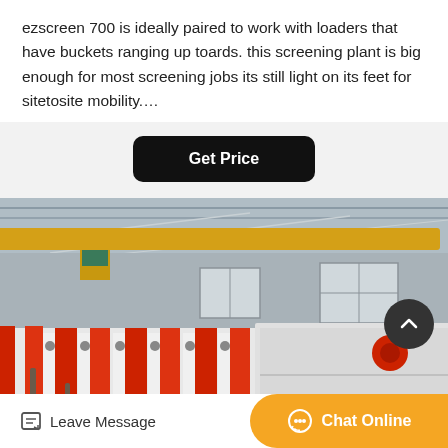ezscreen 700 is ideally paired to work with loaders that have buckets ranging up toards. this screening plant is big enough for most screening jobs its still light on its feet for sitetosite mobility.…
[Figure (other): Button labeled Get Price with black rounded rectangle background]
[Figure (photo): Industrial factory interior showing red and white screening/crusher equipment with overhead yellow crane beam, grey warehouse building in background]
[Figure (other): Bottom navigation bar with Leave Message icon on left and orange Chat Online button on right]